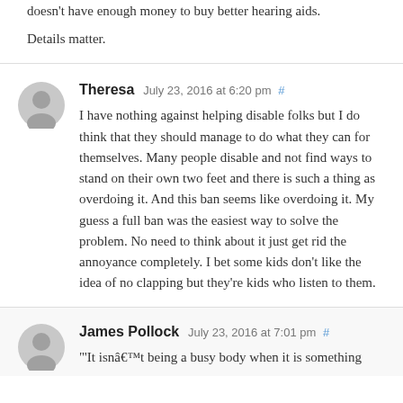doesn't have enough money to buy better hearing aids.
Details matter.
Theresa July 23, 2016 at 6:20 pm #
I have nothing against helping disable folks but I do think that they should manage to do what they can for themselves. Many people disable and not find ways to stand on their own two feet and there is such a thing as overdoing it. And this ban seems like overdoing it. My guess a full ban was the easiest way to solve the problem. No need to think about it just get rid the annoyance completely. I bet some kids don't like the idea of no clapping but they're kids who listen to them.
James Pollock July 23, 2016 at 7:01 pm #
"It isnât being a busy body when it is something